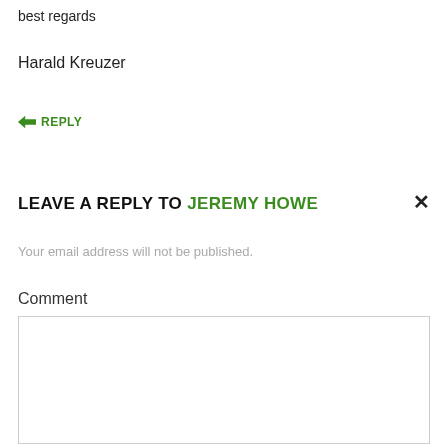best regards
Harald Kreuzer
↳ REPLY
LEAVE A REPLY TO JEREMY HOWE
Your email address will not be published.
Comment